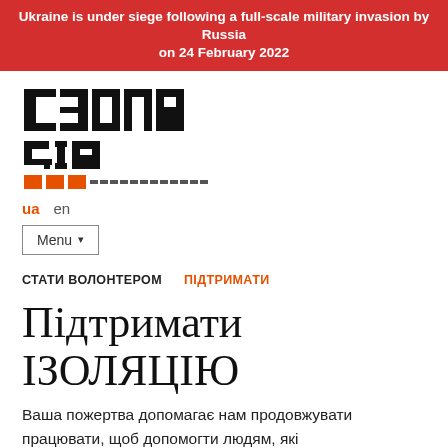Ukraine is under siege following a full-scale military invasion by Russia on 24 February 2022
[Figure (logo): IZOLYATSIA foundation logo — bold black geometric lettering in Cyrillic with orange geometric bar elements below]
ua  en
Menu ▾
СТАТИ ВОЛОНТЕРОМ   ПІДТРИМАТИ
Підтримати ІЗОЛЯЦІЮ
Ваша пожертва допомагає нам продовжувати працювати, щоб допомогти людям, які постраждали від російської агресії в Україні